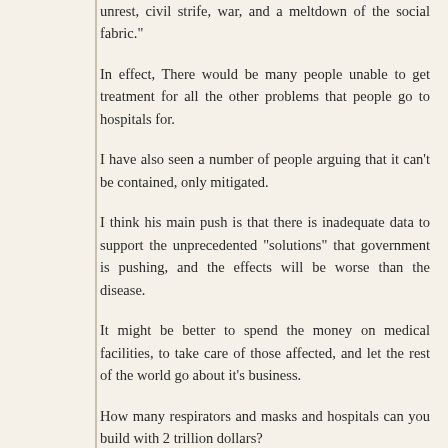unrest, civil strife, war, and a meltdown of the social fabric."
In effect, There would be many people unable to get treatment for all the other problems that people go to hospitals for.
I have also seen a number of people arguing that it can't be contained, only mitigated.
I think his main push is that there is inadequate data to support the unprecedented "solutions" that government is pushing, and the effects will be worse than the disease.
It might be better to spend the money on medical facilities, to take care of those affected, and let the rest of the world go about it's business.
How many respirators and masks and hospitals can you build with 2 trillion dollars?